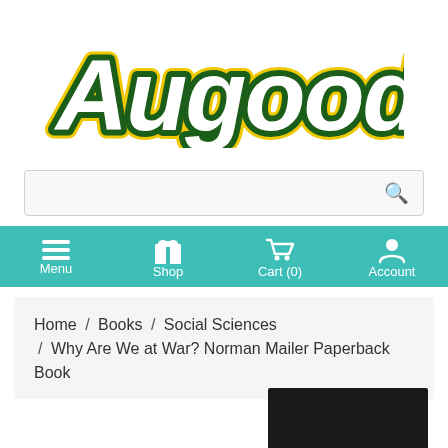[Figure (logo): Augoods logo — white bold rounded letters with dark green fill and yellow outline stroke on white background]
[Figure (screenshot): Search bar input field with magnifying glass icon on right]
[Figure (screenshot): Teal navigation bar with Menu, Shop, Cart (0), and Account icons and labels]
Home / Books / Social Sciences / Why Are We at War? Norman Mailer Paperback Book
[Figure (photo): Partial book cover image visible at bottom right, dark background]